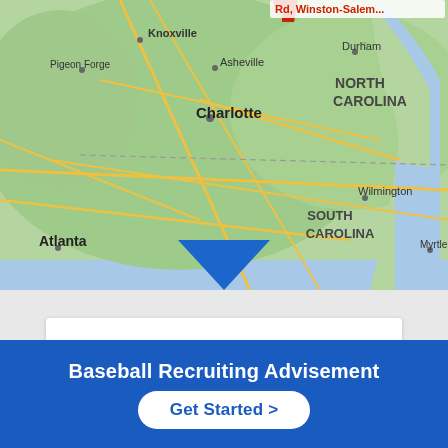[Figure (map): Google Maps screenshot showing southeastern United States including North Carolina, South Carolina, parts of Georgia and Tennessee. Cities labeled: Knoxville, Pigeon Forge, Asheville, Charlotte, Durham, Wilmington, Atlanta, Myrtle Beach. A red location pin is shown near Winston-Salem area with label 'Rd, Winston-Salem...' in red text. Road networks and state boundaries visible.]
About
Baseball Recruiting Advisement
Get Started >